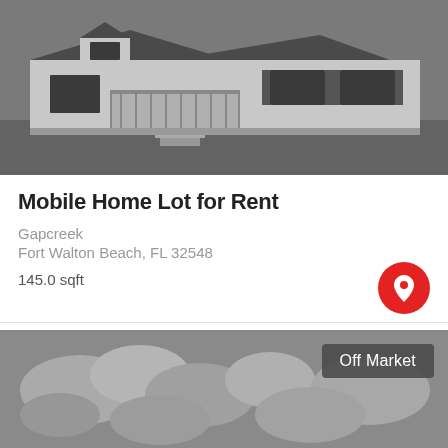[Figure (photo): Grayscale photo of a single-story mobile home with a front porch and landscaping]
Mobile Home Lot for Rent
Gapcreek
Fort Walton Beach, FL 32548
145.0 sqft
[Figure (photo): Grayscale photo cropped at bottom of page, partially visible, with 'Off Market' badge overlay]